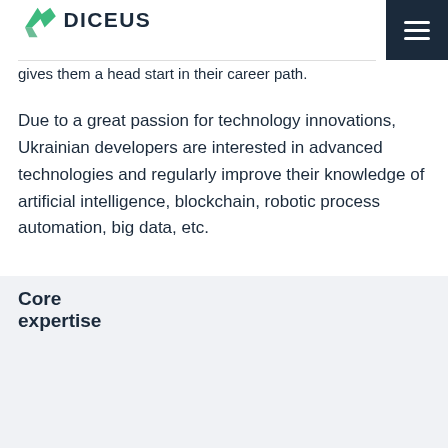DICEUS
gives them a head start in their career path.
Due to a great passion for technology innovations, Ukrainian developers are interested in advanced technologies and regularly improve their knowledge of artificial intelligence, blockchain, robotic process automation, big data, etc.
Core expertise
[Figure (infographic): Core expertise icon grid showing: Row 1 (right columns): Artificial Intelligence, Big Data, Blockchain. Row 2 (all columns): BI and Reporting, Cloud Solutions, Data Science, Data Warehouse and ETL, Embedded Systems. Row 3 (all columns): Internet of Things, Machine Learning, Oracle, Robotic Process Automation, Wearables]